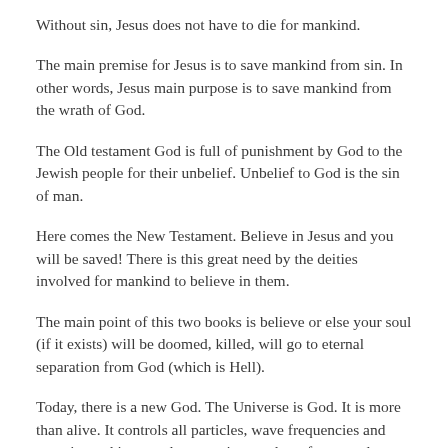Without sin, Jesus does not have to die for mankind.
The main premise for Jesus is to save mankind from sin. In other words, Jesus main purpose is to save mankind from the wrath of God.
The Old testament God is full of punishment by God to the Jewish people for their unbelief. Unbelief to God is the sin of man.
Here comes the New Testament. Believe in Jesus and you will be saved! There is this great need by the deities involved for mankind to believe in them.
The main point of this two books is believe or else your soul (if it exists) will be doomed, killed, will go to eternal separation from God (which is Hell).
Today, there is a new God. The Universe is God. It is more than alive. It controls all particles, wave frequencies and energies and it controls our actions and our future and